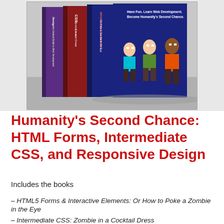[Figure (illustration): Box set of three books: HTML5 Forms & Interactive Elements (Or How to Poke a Zombie in the Eye), Intermediate CSS: Zombie in a Cocktail Dress, and a Design/Responsive Web Development book. Cartoon zombie characters on the covers.]
Humanity's Second Chance: HTML Forms, Intermediate CSS, and Responsive Design
Includes the books
– HTML5 Forms & Interactive Elements: Or How to Poke a Zombie in the Eye
– Intermediate CSS: Zombie in a Cocktail Dress